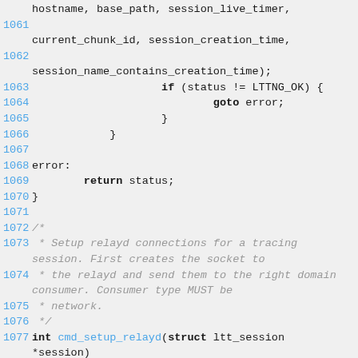[Figure (screenshot): Source code listing with line numbers 1061-1079, showing C code for session handling and relayd connection setup]